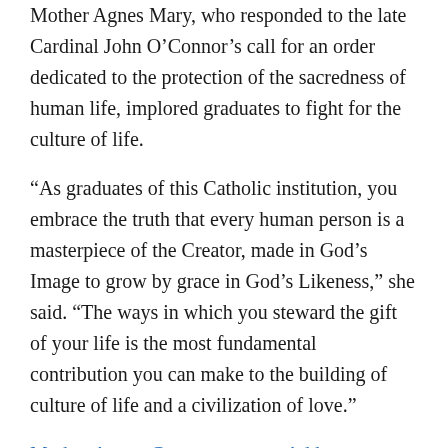Mother Agnes Mary, who responded to the late Cardinal John O'Connor's call for an order dedicated to the protection of the sacredness of human life, implored graduates to fight for the culture of life.
“As graduates of this Catholic institution, you embrace the truth that every human person is a masterpiece of the Creator, made in God’s Image to grow by grace in God’s Likeness,” she said. “The ways in which you steward the gift of your life is the most fundamental contribution you can make to the building of culture of life and a civilization of love.”
Mother Agnes-Commencement Address
Rev. Baker, who edited Homiletic & Pastoral Review for 10...